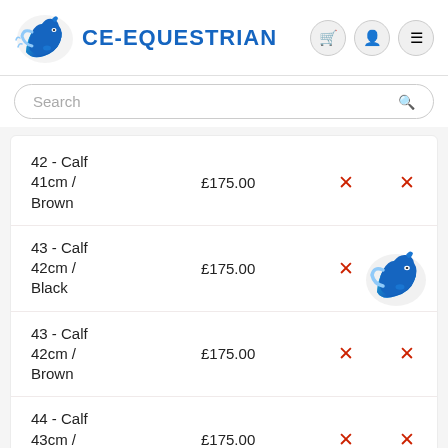CE-EQUESTRIAN
Search
| Product | Price |  |  |
| --- | --- | --- | --- |
| 42 - Calf 41cm / Brown | £175.00 | ✗ | ✗ |
| 43 - Calf 42cm / Black | £175.00 | ✗ | ✗ |
| 43 - Calf 42cm / Brown | £175.00 | ✗ | ✗ |
| 44 - Calf 43cm / Black | £175.00 | ✗ | ✗ |